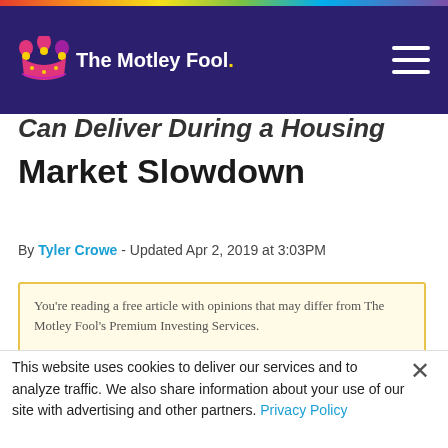[Figure (logo): The Motley Fool logo with jester hat in navigation bar on dark purple background]
Can Deliver During a Housing Market Slowdown
By Tyler Crowe - Updated Apr 2, 2019 at 3:03PM
You're reading a free article with opinions that may differ from The Motley Fool's Premium Investing Services.
This website uses cookies to deliver our services and to analyze traffic. We also share information about your use of our site with advertising and other partners. Privacy Policy
Got it
Cookie Settings